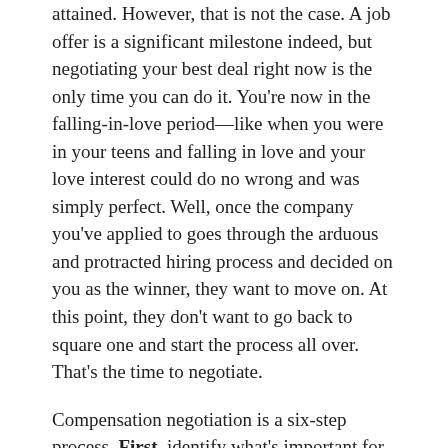attained. However, that is not the case. A job offer is a significant milestone indeed, but negotiating your best deal right now is the only time you can do it. You're now in the falling-in-love period—like when you were in your teens and falling in love and your love interest could do no wrong and was simply perfect. Well, once the company you've applied to goes through the arduous and protracted hiring process and decided on you as the winner, they want to move on. At this point, they don't want to go back to square one and start the process all over. That's the time to negotiate.
Compensation negotiation is a six-step process. First, identify what's important for you—for example, size of company, reputation, challenge, work-life balance, and your future manager. Second, carefully examine the offer by talking to as many people as you can who can provide relevant information about your areas of interest concerning the company and the job. Third, compare the offer with your priorities by writing down your thoughts. Consider the pluses